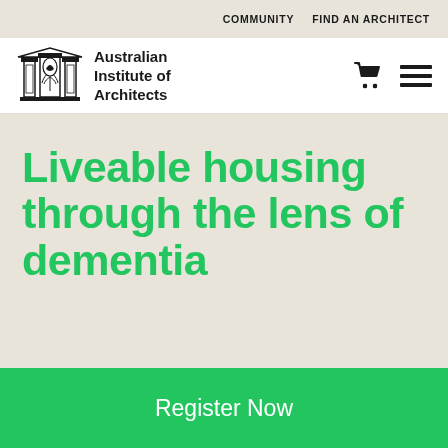COMMUNITY   FIND AN ARCHITECT
[Figure (logo): Australian Institute of Architects logo with architectural column/building illustration and text]
Liveable housing through the lens of dementia
Register Now